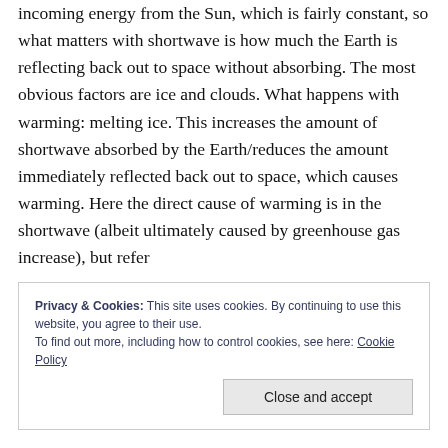incoming energy from the Sun, which is fairly constant, so what matters with shortwave is how much the Earth is reflecting back out to space without absorbing. The most obvious factors are ice and clouds. What happens with warming: melting ice. This increases the amount of shortwave absorbed by the Earth/reduces the amount immediately reflected back out to space, which causes warming. Here the direct cause of warming is in the shortwave (albeit ultimately caused by greenhouse gas increase), but refer
Privacy & Cookies: This site uses cookies. By continuing to use this website, you agree to their use.
To find out more, including how to control cookies, see here: Cookie Policy